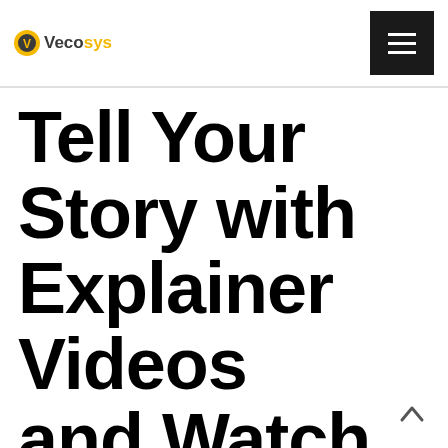Vecosys
Tell Your Story with Explainer Videos and Watch Your